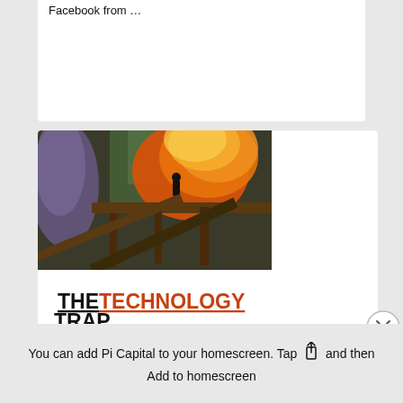Facebook from …
[Figure (photo): Book cover of 'The Technology Trap: Capital, Labor, and Power in the Age of Automation'. The top portion shows an industrial painting with orange flames and machinery. The title reads 'THE TECHNOLOGY TRAP' with 'TECHNOLOGY' in orange/red and the other words in black bold. Below the title is another industrial scene. The subtitle reads 'CAPITAL, LABOR, AND POWER IN THE AGE OF AUTOMATION' in small caps.]
[Figure (other): Close button (circle with X) overlay on the book card]
You can add Pi Capital to your homescreen. Tap  and then Add to homescreen